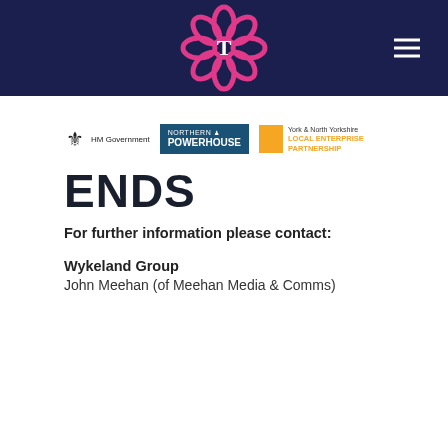[Figure (logo): Website header with dark navy background, central T-logo mark (pink floral design with T letterform), and hamburger menu icon on the right]
[Figure (logo): Three logos in a row: HM Government (royal crest), Northern Powerhouse (blue box), York & North Yorkshire Local Enterprise Partnership (orange square with text)]
ENDS
For further information please contact:
Wykeland Group
John Meehan (of Meehan Media & Comms)